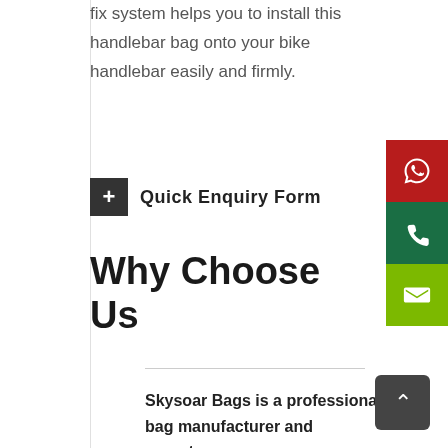fix system helps you to install this handlebar bag onto your bike handlebar easily and firmly.
+ Quick Enquiry Form
Why Choose Us
Skysoar Bags is a professional bag manufacturer and exporter,